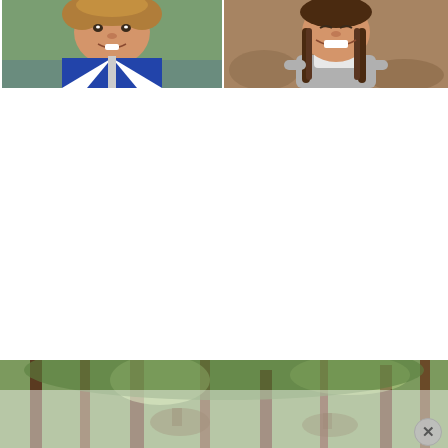[Figure (photo): Close-up portrait of a young toddler with curly hair, smiling, wearing a blue and white patterned vest/jacket, outdoors near a stream with green foliage in background.]
[Figure (photo): Portrait of an older girl with long dark braids, smiling and leaning forward with hands on knees, wearing a grey sweater with white collar, outdoors with rocky/brown background.]
[Figure (photo): Wide panoramic outdoor photo of a forest scene with tall trees, sunlight filtering through, and what appears to be a deer or animals partially visible among the trees. A circular close/dismiss button with an X overlays the bottom-right corner.]